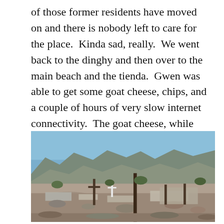of those former residents have moved on and there is nobody left to care for the place.  Kinda sad, really.  We went back to the dinghy and then over to the main beach and the tienda.  Gwen was able to get some goat cheese, chips, and a couple of hours of very slow internet connectivity.  The goat cheese, while perfectly OK, was nowhere near as good as the stuff we had in San Juanico.
[Figure (photo): Outdoor photograph of a rocky, arid desert landscape with scattered stone grave markers and wooden crosses in the foreground, desert shrubs and trees in the middle ground, and rugged mountains under a bright blue sky in the background.]